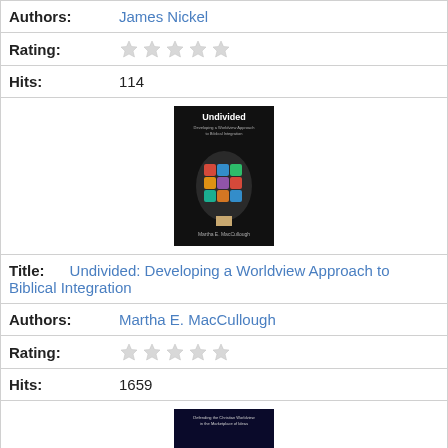Authors: James Nickel
Rating: (5 empty stars)
Hits: 114
[Figure (illustration): Book cover of 'Undivided: Developing a Worldview Approach to Biblical Integration' — black background, colorful puzzle-piece brain head silhouette]
Title: Undivided: Developing a Worldview Approach to Biblical Integration
Authors: Martha E. MacCullough
Rating: (5 empty stars)
Hits: 1659
[Figure (illustration): Book cover of 'The Battle for Truth: Defending the Christian Worldview in the Marketplace of Ideas' by David A. Noebel — dark background with planet/earth imagery]
Title: The Battle for Truth: Defending the Christian Worldview in the Marketplace of Ideas